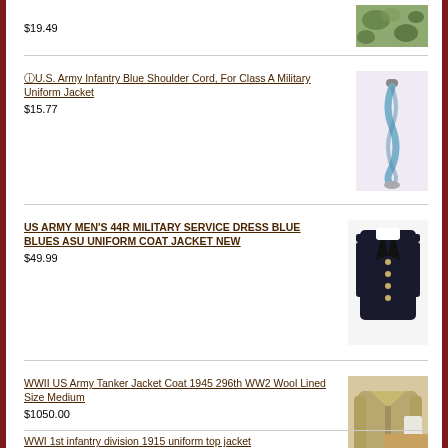$19.49
ⓘU.S. Army Infantry Blue Shoulder Cord, For Class A Military Uniform Jacket
$15.77
US ARMY MEN'S 44R MILITARY SERVICE DRESS BLUE BLUES ASU UNIFORM COAT JACKET NEW
$49.99
WWII US Army Tanker Jacket Coat 1945 296th WW2 Wool Lined Size Medium
$1050.00
WWI 1st infantry division 1915 uniform top jacket